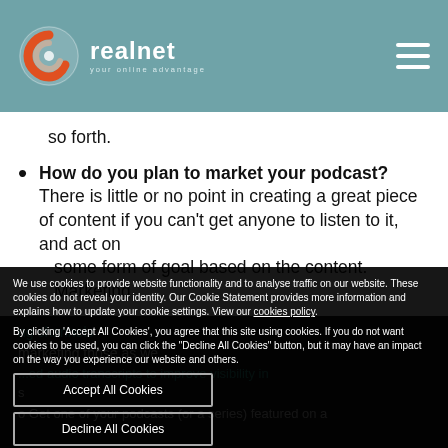realnet — your online advantage
so forth.
How do you plan to market your podcast? There is little or no point in creating a great piece of content if you can't get anyone to listen to it, and act on some form of goal based on the content. Marketing
We use cookies to provide website functionality and to analyse traffic on our website. These cookies do not reveal your identity. Our Cookie Statement provides more information and explains how to update your cookie settings. View our cookies policy. By clicking 'Accept All Cookies', you agree that this site using cookies. If you do not want cookies to be used, you can click the "Decline All Cookies" button, but it may have an impact on the way you experience our website and others.
Accept All Cookies
Decline All Cookies